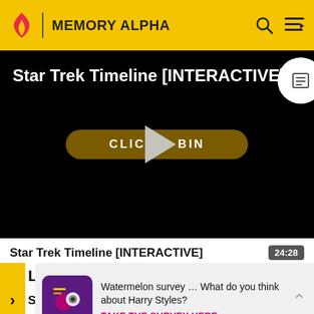MEMORY ALPHA
[Figure (screenshot): Video player showing Star Trek Timeline [INTERACTIVE] with a dark/black background, a play button overlay, and a 'CLICK TO BEGIN' button. A white circle icon appears in the top right corner of the video.]
Star Trek Timeline [INTERACTIVE]
24:28
Links
Star
Watermelon survey … What do you think about Harry Styles?
TAKE THE SURVEY HERE